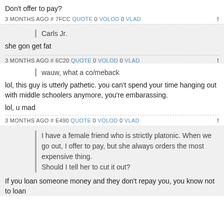Don't offer to pay?
3 MONTHS AGO # 7FCC QUOTE 0 VOLOD 0 VLAD !
Carls Jr.
she gon get fat
3 MONTHS AGO # 6C20 QUOTE 0 VOLOD 0 VLAD !
wauw, what a co/meback
lol, this guy is utterly pathetic. you can't spend your time hanging out with middle schoolers anymore, you're embarassing.

lol, u mad
3 MONTHS AGO # E490 QUOTE 0 VOLOD 0 VLAD !
I have a female friend who is strictly platonic. When we go out, I offer to pay, but she always orders the most expensive thing. Should I tell her to cut it out?
If you loan someone money and they don't repay you, you know not to loan